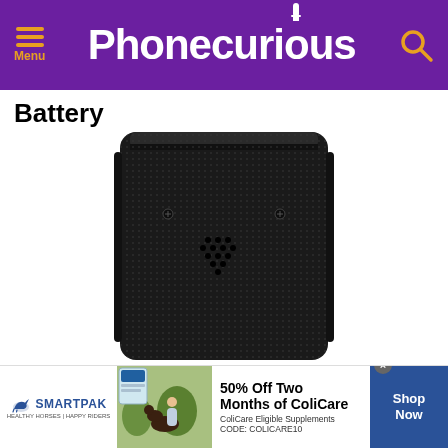Phonecurious
Battery
[Figure (photo): Back view of a black flip phone or mobile phone showing textured rear panel with speaker grille dots and two screws]
[Figure (infographic): SmartPak advertisement banner: 50% Off Two Months of ColiCare, ColiCare Eligible Supplements, CODE: COLICARE10, Shop Now button]